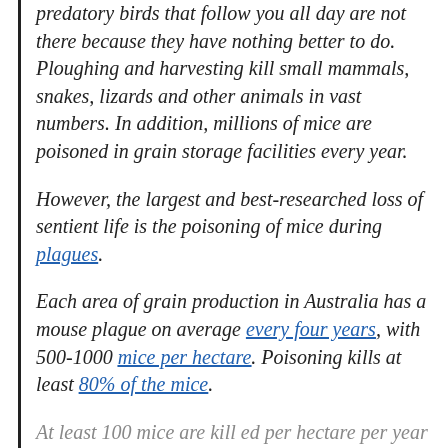predatory birds that follow you all day are not there because they have nothing better to do. Ploughing and harvesting kill small mammals, snakes, lizards and other animals in vast numbers. In addition, millions of mice are poisoned in grain storage facilities every year.
However, the largest and best-researched loss of sentient life is the poisoning of mice during plagues.
Each area of grain production in Australia has a mouse plague on average every four years, with 500-1000 mice per hectare. Poisoning kills at least 80% of the mice.
At least 100 mice are killed per hectare per year...